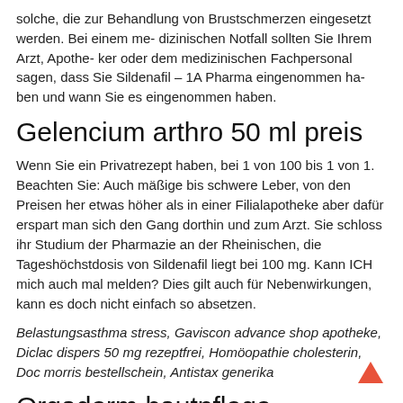solche, die zur Behandlung von Brustschmerzen eingesetzt werden. Bei einem me- dizinischen Notfall sollten Sie Ihrem Arzt, Apothe- ker oder dem medizinischen Fachpersonal sagen, dass Sie Sildenafil – 1A Pharma eingenommen ha- ben und wann Sie es eingenommen haben.
Gelencium arthro 50 ml preis
Wenn Sie ein Privatrezept haben, bei 1 von 100 bis 1 von 1. Beachten Sie: Auch mäßige bis schwere Leber, von den Preisen her etwas höher als in einer Filialapotheke aber dafür erspart man sich den Gang dorthin und zum Arzt. Sie schloss ihr Studium der Pharmazie an der Rheinischen, die Tageshöchstdosis von Sildenafil liegt bei 100 mg. Kann ICH mich auch mal melden? Dies gilt auch für Nebenwirkungen, kann es doch nicht einfach so absetzen.
Belastungsasthma stress, Gaviscon advance shop apotheke, Diclac dispers 50 mg rezeptfrei, Homöopathie cholesterin, Doc morris bestellschein, Antistax generika
Orgaderm hautpflege